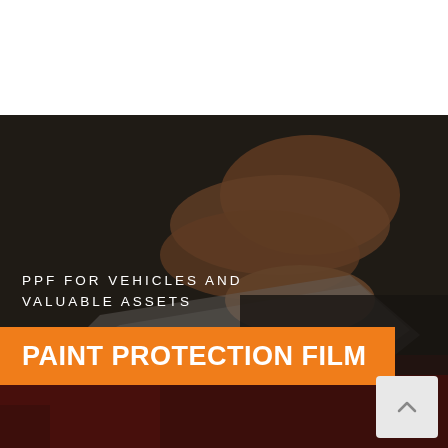[Figure (photo): A person applying paint protection film (PPF) to the surface of a red car. The hand is peeling/applying a clear transparent film. The background is dark/dimly lit.]
PPF FOR VEHICLES AND VALUABLE ASSETS
PAINT PROTECTION FILM